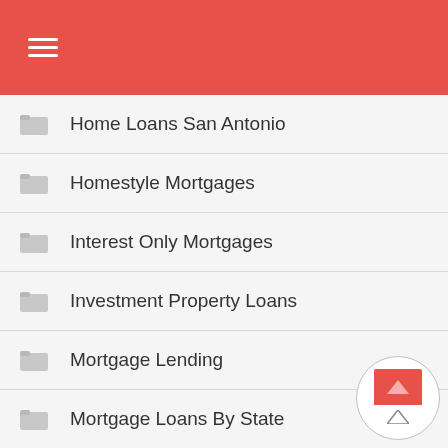☰ (navigation menu)
Home Loans San Antonio
Homestyle Mortgages
Interest Only Mortgages
Investment Property Loans
Mortgage Lending
Mortgage Loans By State
Mortgage Rates Today
Mortgage Texas
Non QM Loans